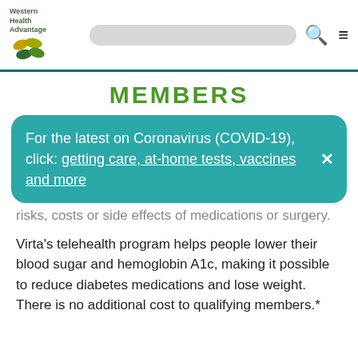Western Health Advantage
MEMBERS
For the latest on Coronavirus (COVID-19), click: getting care, at-home tests, vaccines and more
risks, costs or side effects of medications or surgery.
Virta's telehealth program helps people lower their blood sugar and hemoglobin A1c, making it possible to reduce diabetes medications and lose weight. There is no additional cost to qualifying members.*